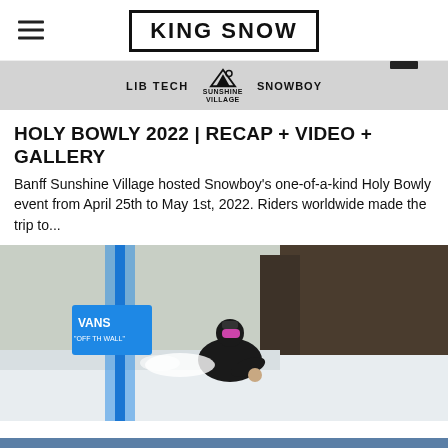KING SNOW
[Figure (logo): Sponsor bar with LIB TECH, Sunshine Village mountain logo, SNOWBOY logos on gray background]
HOLY BOWLY 2022 | RECAP + VIDEO + GALLERY
Banff Sunshine Village hosted Snowboy's one-of-a-kind Holy Bowly event from April 25th to May 1st, 2022. Riders worldwide made the trip to...
[Figure (photo): Snowboarder carving through a slalom gate with a blue Vans banner in a snowy forested setting]